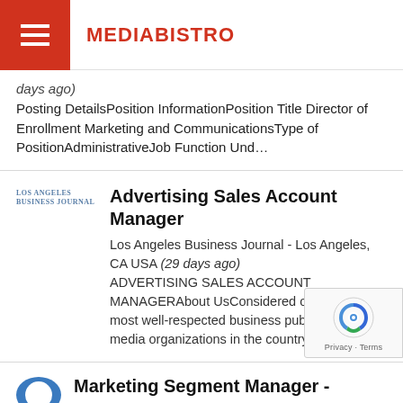MEDIABISTRO
days ago) Posting DetailsPosition InformationPosition Title Director of Enrollment Marketing and CommunicationsType of PositionAdministrativeJob Function Und...
Advertising Sales Account Manager
Los Angeles Business Journal - Los Angeles, CA USA (29 days ago) ADVERTISING SALES ACCOUNT MANAGERAbout UsConsidered one of the most well-respected business publications and media organizations in the country, th...
Marketing Segment Manager -